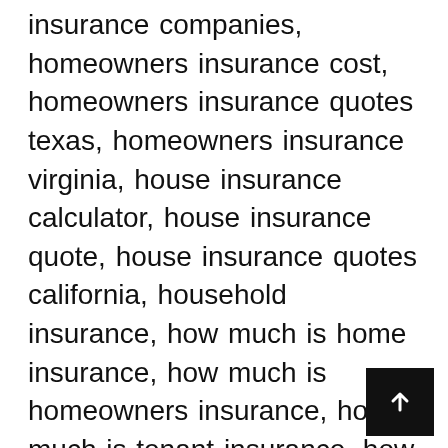insurance companies, homeowners insurance cost, homeowners insurance quotes texas, homeowners insurance virginia, house insurance calculator, house insurance quote, house insurance quotes california, household insurance, how much is home insurance, how much is homeowners insurance, how much is tenant insurance, how to lower car insurance, insurance blog, jewelry insurance, liberty mutual home protector plus, life insurance companies, loss assessment coverage, mechanical breakdown insurance, motorcycle insurance california, moving insurance, nevada